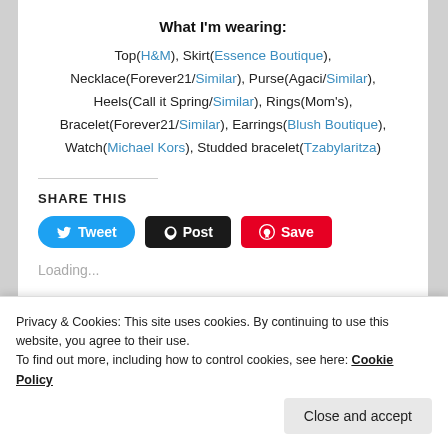What I'm wearing:
Top(H&M), Skirt(Essence Boutique), Necklace(Forever21/Similar), Purse(Agaci/Similar), Heels(Call it Spring/Similar), Rings(Mom's), Bracelet(Forever21/Similar), Earrings(Blush Boutique), Watch(Michael Kors), Studded bracelet(Tzabylaritza)
SHARE THIS
Loading...
Privacy & Cookies: This site uses cookies. By continuing to use this website, you agree to their use.
To find out more, including how to control cookies, see here: Cookie Policy